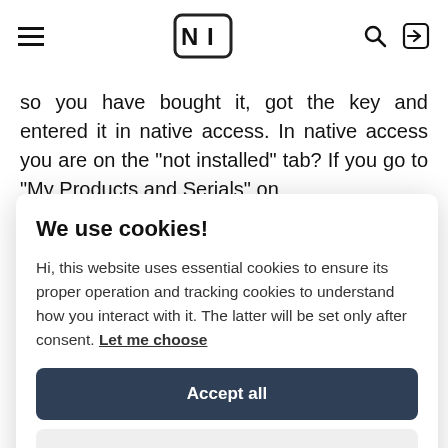NI logo, hamburger menu, search icon, login icon
so you have bought it, got the key and entered it in native access. In native access you are on the "not installed" tab? If you go to "My Products and Serials" on
We use cookies!
Hi, this website uses essential cookies to ensure its proper operation and tracking cookies to understand how you interact with it. The latter will be set only after consent. Let me choose
Accept all
Reject all
but nothing appears in native access app for mac.